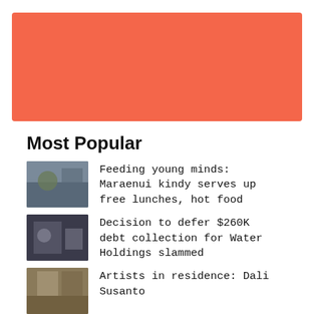[Figure (other): Salmon/coral colored banner rectangle at top of page]
Most Popular
Feeding young minds: Maraenui kindy serves up free lunches, hot food
Decision to defer $260K debt collection for Water Holdings slammed
Artists in residence: Dali Susanto
Delay in prosecution "telling" says Lindsay Farm judge
Don't throw it out, get it fixed at Napier's